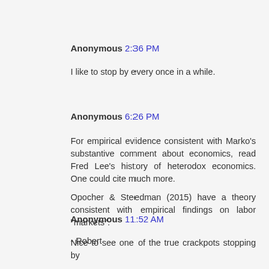Anonymous 2:36 PM
I like to stop by every once in a while.
Anonymous 6:26 PM
For empirical evidence consistent with Marko's substantive comment about economics, read Fred Lee's history of heterodox economics. One could cite much more.
Opocher & Steedman (2015) have a theory consistent with empirical findings on labor "markets".
- Robert
Anonymous 11:52 AM
Nice to see one of the true crackpots stopping by